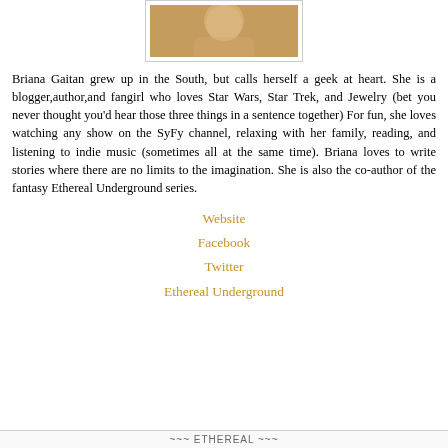[Figure (photo): Portrait photo of Briana Gaitan, a woman with blonde hair]
Briana Gaitan grew up in the South, but calls herself a geek at heart. She is a blogger,author,and fangirl who loves Star Wars, Star Trek, and Jewelry (bet you never thought you'd hear those three things in a sentence together) For fun, she loves watching any show on the SyFy channel, relaxing with her family, reading, and listening to indie music (sometimes all at the same time). Briana loves to write stories where there are no limits to the imagination. She is also the co-author of the fantasy Ethereal Underground series.
Website
Facebook
Twitter
Ethereal Underground
~~~ ETHEREAL ~~~